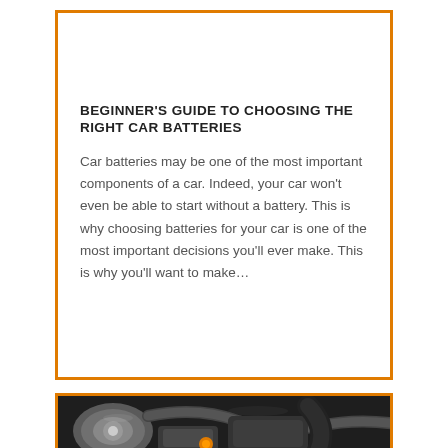BEGINNER'S GUIDE TO CHOOSING THE RIGHT CAR BATTERIES
Car batteries may be one of the most important components of a car. Indeed, your car won't even be able to start without a battery. This is why choosing batteries for your car is one of the most important decisions you'll ever make. This is why you'll want to make...
[Figure (photo): Close-up photo of a car engine bay showing engine components including what appears to be battery terminals and engine parts in dark tones with orange accents]